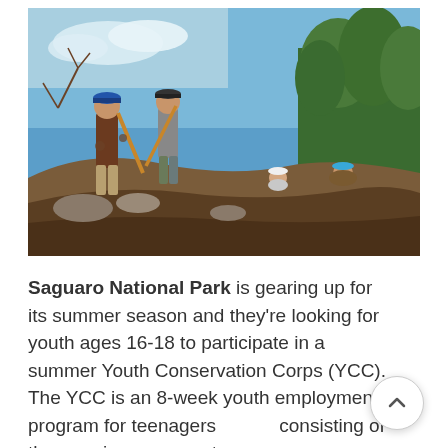[Figure (photo): Youth Conservation Corps crew members wearing hard hats and using shovels to work on a trail on a hillside, with green trees and blue sky in the background at Saguaro National Park.]
Saguaro National Park is gearing up for its summer season and they're looking for youth ages 16-18 to participate in a summer Youth Conservation Corps (YCC). The YCC is an 8-week youth employment program for teenagers consisting of three main components: conservation work, environmental